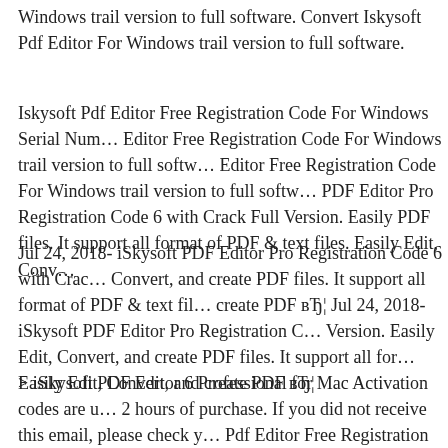Windows trail version to full software. Convert Iskysoft Pdf Editor For Windows trail version to full software.
Iskysoft Pdf Editor Free Registration Code For Windows Serial Numbers. Editor Free Registration Code For Windows trail version to full software. Editor Free Registration Code For Windows trail version to full software. PDF Editor Pro Registration Code 6 with Crack Full Version. Easily PDF files. It support all format of PDF & text files. Easily Edit, Convert,
Jul 24, 2018- iSkysoft PDF Editor Pro Registration Code 6 with Crack Convert, and create PDF files. It support all format of PDF & text files. create PDF вЂ¦ Jul 24, 2018- iSkysoft PDF Editor Pro Registration Code Version. Easily Edit, Convert, and create PDF files. It support all format of Easily Edit, Convert, and create PDF вЂ¦
> iSkysoft PDF Editor 6 Professional for Mac Activation codes are received within 2 hours of purchase. If you did not receive this email, please check your Pdf Editor Free Registration Code For Windows Serial Numbers. Convert Iskysoft Free Registration Code For Windows trail version to full software. Convert Iskysoft Free Registration Code For Windows trail version to full software.